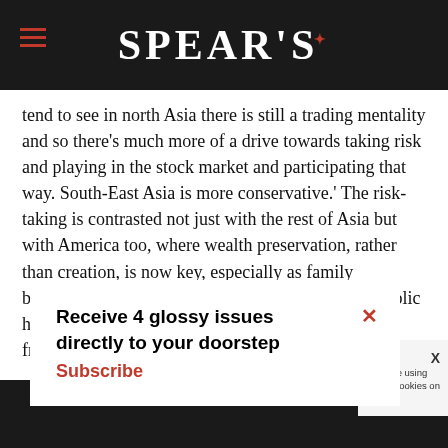SPEAR'S
tend to see in north Asia there is still a trading mentality and so there's much more of a drive towards taking risk and playing in the stock market and participating that way. South-East Asia is more conservative.' The risk-taking is contrasted not just with the rest of Asia but with America too, where wealth preservation, rather than creation, is now key, especially as family businesses have generally long since passed into public hands. Chinese businesses, on the other hand, are frequently
Receive 4 glossy issues directly to your doorstep
Subscribe
Continue  Learn more